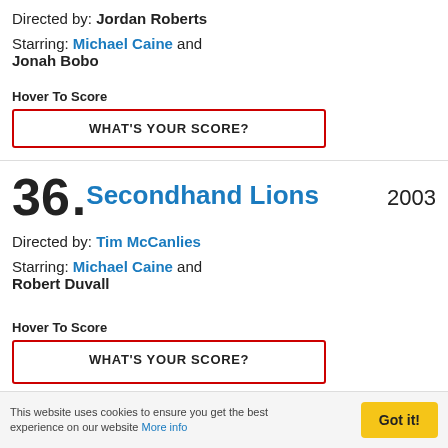Directed by: Jordan Roberts
Starring: Michael Caine and Jonah Bobo
Hover To Score
WHAT'S YOUR SCORE?
36. Secondhand Lions 2003
Directed by: Tim McCanlies
Starring: Michael Caine and Robert Duvall
Hover To Score
WHAT'S YOUR SCORE?
This website uses cookies to ensure you get the best experience on our website More info